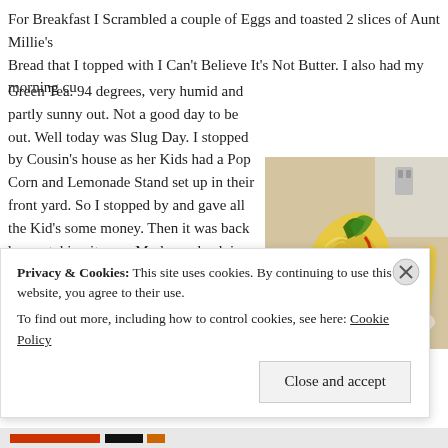For Breakfast I Scrambled a couple of Eggs and toasted 2 slices of Aunt Millie's Bread that I topped with I Can't Believe It's Not Butter. I also had my morning cu Green Tea. 94 degrees, very humid and partly sunny out. Not a good day to be out. Well today was Slug Day. I stopped by Cousin's house as her Kids had a Pop Corn and Lemonade Stand set up in their front yard. So I stopped by and gave all the Kid's some money. Then it was back home, taking it easy. My lower back is sore and bruised. I fell last night while on my walker and fell backwards. I'm ok except for my back a bit. One of the hazards of a leg amputee1 For Dinner tonight I prepared Turkey Tacos and
[Figure (photo): Photo of taco cups filled with ground meat, lettuce, olives, green pepper, and hot sauce in yellow tortilla bowls on a white plate]
Privacy & Cookies: This site uses cookies. By continuing to use this website, you agree to their use.
To find out more, including how to control cookies, see here: Cookie Policy
Close and accept